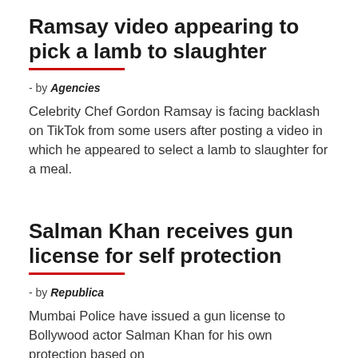Ramsay video appearing to pick a lamb to slaughter
- by Agencies
Celebrity Chef Gordon Ramsay is facing backlash on TikTok from some users after posting a video in which he appeared to select a lamb to slaughter for a meal.
Salman Khan receives gun license for self protection
- by Republica
Mumbai Police have issued a gun license to Bollywood actor Salman Khan for his own protection based on